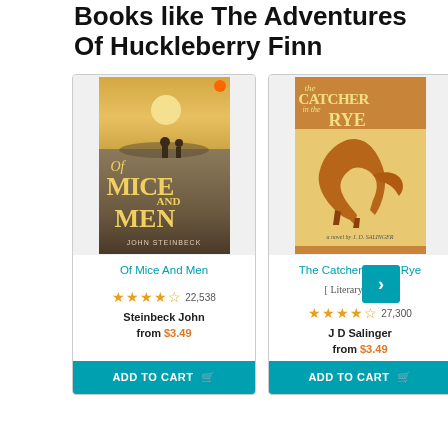Books like The Adventures Of Huckleberry Finn
[Figure (illustration): Book cover of 'Of Mice and Men' by John Steinbeck - Penguin edition with yellow/brown tones]
Of Mice And Men
22,538 stars (4.5/5)
Steinbeck John
from $3.49
ADD TO CART
[Figure (illustration): Book cover of 'The Catcher in the Rye' by J. D. Salinger - with orange horse illustration]
The Catcher In The Rye
[ Literary Series ]
27,300 stars (4.5/5)
J D Salinger
from $3.49
ADD TO CART
[Figure (illustration): Partial view of a third book cover (Great ...) in dark blue]